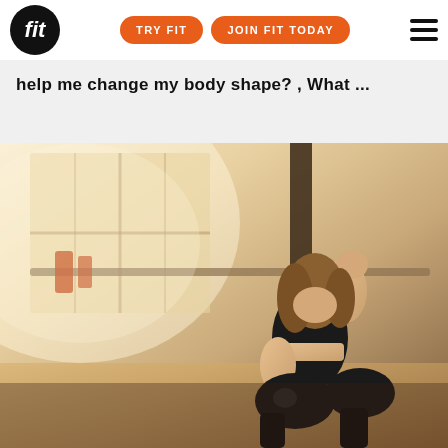fit | TRY FIT | JOIN FIT TODAY
help me change my body shape? , What ...
[Figure (photo): Woman in black workout clothes sitting on gym floor with knees up and fists raised, warm sepia-toned gym background with barbell rack visible]